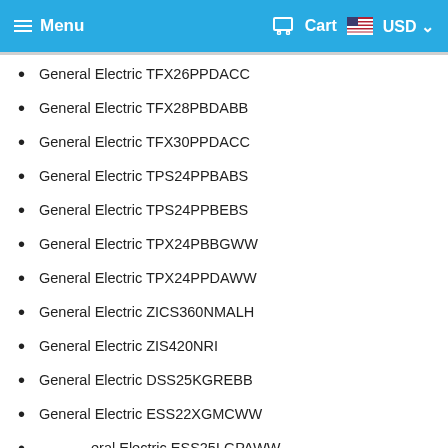Menu | Cart USD
General Electric TFX26PPDACC
General Electric TFX28PBDABB
General Electric TFX30PPDACC
General Electric TPS24PPBABS
General Electric TPS24PPBEBS
General Electric TPX24PBBGWW
General Electric TPX24PPDAWW
General Electric ZICS360NMALH
General Electric ZIS420NRI
General Electric DSS25KGREBB
General Electric ESS22XGMCWW
General Electric ESS25LGPAWW
General Electric ESS25XGMCWW